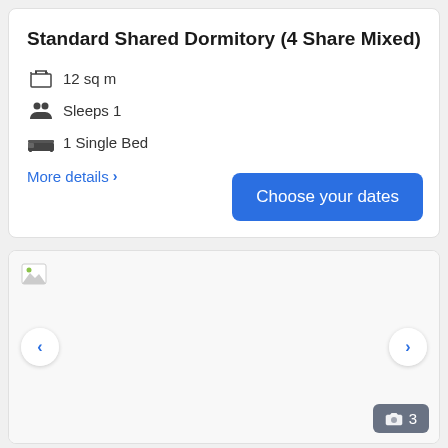Standard Shared Dormitory (4 Share Mixed)
12 sq m
Sleeps 1
1 Single Bed
More details >
Choose your dates
[Figure (photo): Broken image placeholder for dormitory room photo with navigation arrows and photo count badge showing 3]
3